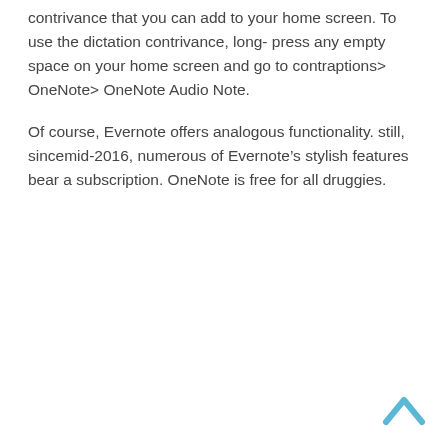contrivance that you can add to your home screen. To use the dictation contrivance, long- press any empty space on your home screen and go to contraptions> OneNote> OneNote Audio Note.
Of course, Evernote offers analogous functionality. still, sincemid-2016, numerous of Evernote’s stylish features bear a subscription. OneNote is free for all druggies.